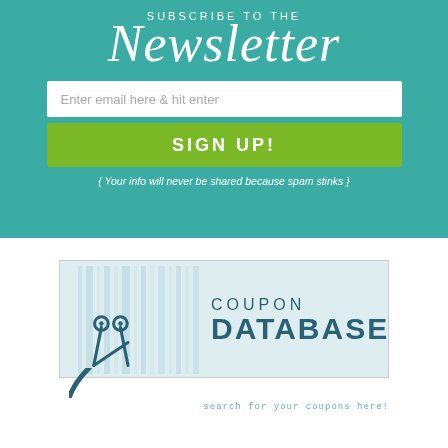[Figure (infographic): Teal newsletter subscription banner with 'SUBSCRIBE TO THE' text above large script 'Newsletter' heading, an email input field, a green 'SIGN UP!' button, and privacy note below.]
[Figure (logo): Coupon Database logo with light blue background, barcode graphic, scissors icon, 'COUPON DATABASE' text in teal, and tagline 'search for your coupons here!' below.]